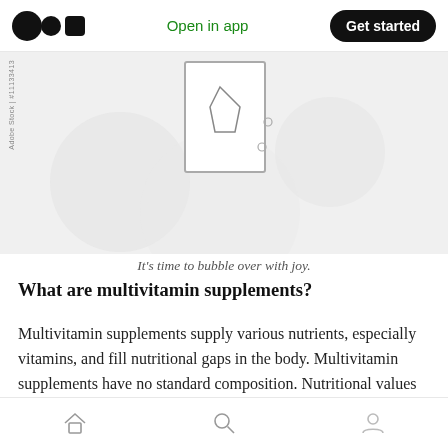Open in app  Get started
[Figure (illustration): Partial illustration of a glass of water with bubbles and a tablet/effervescent disc, on a light background. Adobe Stock watermark visible on left side.]
It's time to bubble over with joy.
What are multivitamin supplements?
Multivitamin supplements supply various nutrients, especially vitamins, and fill nutritional gaps in the body. Multivitamin supplements have no standard composition. Nutritional values may differ according to different needs and goals.
Home  Search  Profile